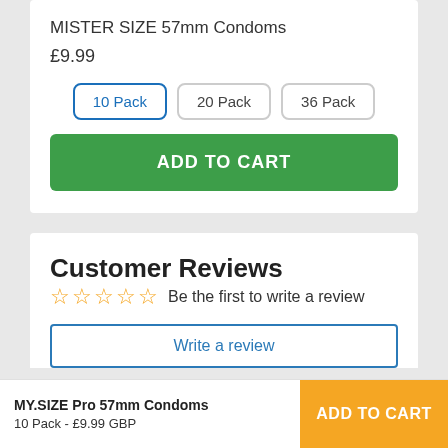MISTER SIZE 57mm Condoms
£9.99
10 Pack | 20 Pack | 36 Pack
ADD TO CART
Customer Reviews
Be the first to write a review
Write a review
MY.SIZE Pro 57mm Condoms
10 Pack - £9.99 GBP
ADD TO CART